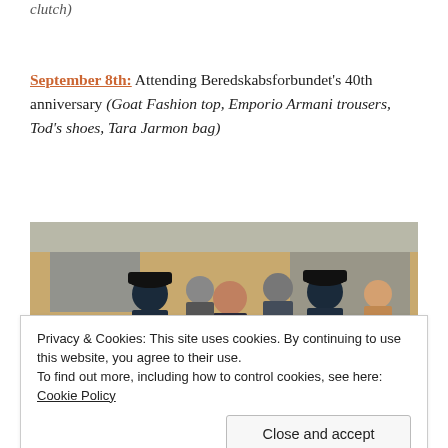clutch)
September 8th: Attending Beredskabsforbundet's 40th anniversary (Goat Fashion top, Emporio Armani trousers, Tod's shoes, Tara Jarmon bag)
[Figure (photo): Group of people including a woman in a dark blazer walking outside a brick building, accompanied by uniformed officers and men in suits.]
Privacy & Cookies: This site uses cookies. By continuing to use this website, you agree to their use.
To find out more, including how to control cookies, see here: Cookie Policy
Close and accept
[Figure (photo): Partial black and white photo at bottom of page.]